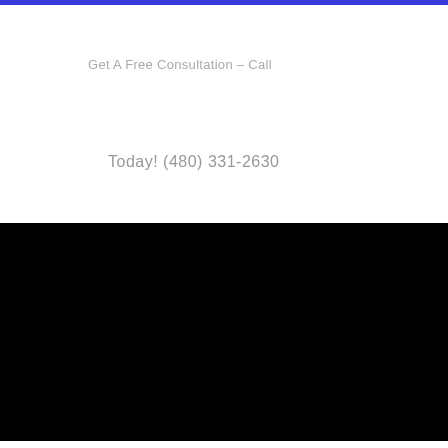Get A Free Consultation – Call
Today! (480) 331-2630
[Figure (logo): Dr. Kelly Romero logo with blue and teal color bars and tagline 'Start Your Journey Towards Pain-Free Living' on black background]